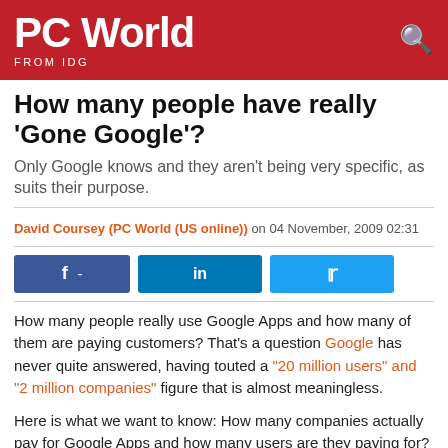PC World FROM IDG
How many people have really 'Gone Google'?
Only Google knows and they aren't being very specific, as suits their purpose.
David Coursey (PC World (US online)) on 04 November, 2009 02:31
[Figure (other): Social share buttons: Facebook, LinkedIn, Twitter]
How many people really use Google Apps and how many of them are paying customers? That's a question Google has never quite answered, having touted a "20 million users" and "2 million companies" figure that is almost meaningless.
Here is what we want to know: How many companies actually pay for Google Apps and how many users are they paying for? Lately, Google has been trumpeting its win with the City of Los Angeles, which is